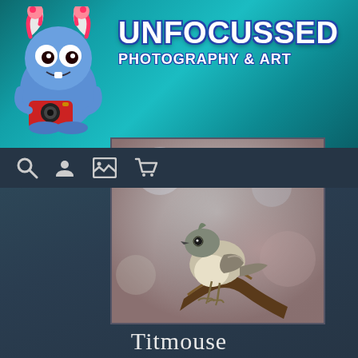[Figure (logo): Cartoon blue monster mascot with candy cane horns holding a red camera, used as logo for Unfocussed Photography & Art]
UNFOCUSSED PHOTOGRAPHY & ART
[Figure (photo): A tufted titmouse bird perched on a branch against a soft bokeh background of grey and brown tones]
Afternoon Titmouse